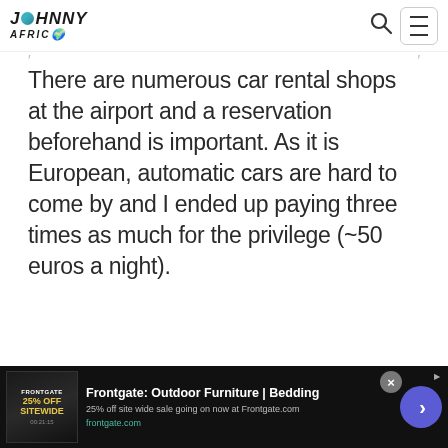Johnny Africa
There are numerous car rental shops at the airport and a reservation beforehand is important. As it is European, automatic cars are hard to come by and I ended up paying three times as much for the privilege (~50 euros a night).
Guadeloupe, Food
[Figure (other): Advertisement banner for Frontgate: Outdoor Furniture | Bedding. 25% off site wide sale going on now at Frontgate.com. frontgate.com]